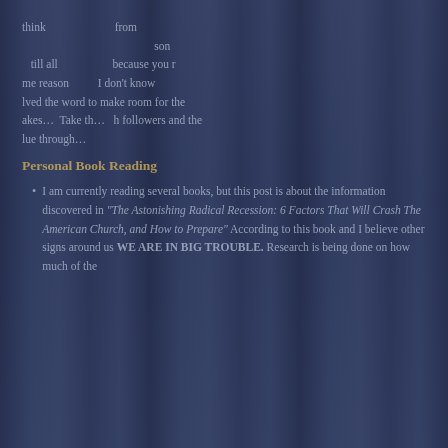think... [partially visible text] ...from... ...son... ...I don't know... ...lved the word to make room for the ...akes... Take th... ...h followers and the ...lue through...
Personal Book Reading
I am currently reading several books, but this post is about the information discovered in "The Astonishing Radical Recession: 6 Factors That Will Crash The American Church, and How to Prepare" According to this book and I believe other signs around us WE ARE IN BIG TROUBLE. Research is being done on how much of the